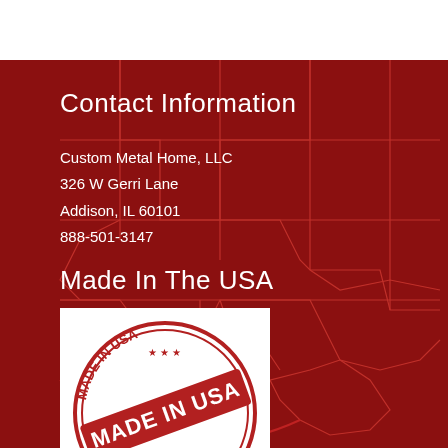Contact Information
Custom Metal Home, LLC
326 W Gerri Lane
Addison, IL 60101
888-501-3147
Made In The USA
[Figure (logo): Made In USA circular stamp logo with bold diagonal banner reading MADE IN USA, red and white colors, with circular text reading MADE IN USA around the border]